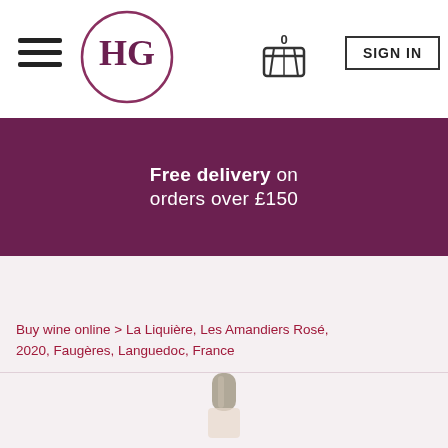HG logo, hamburger menu, basket (0 items), SIGN IN button
Free delivery on orders over £150
Buy wine online > La Liquière, Les Amandiers Rosé, 2020, Faugères, Languedoc, France
[Figure (photo): Top of a wine bottle with a grey/beige capsule, partially visible, on a light pink background]